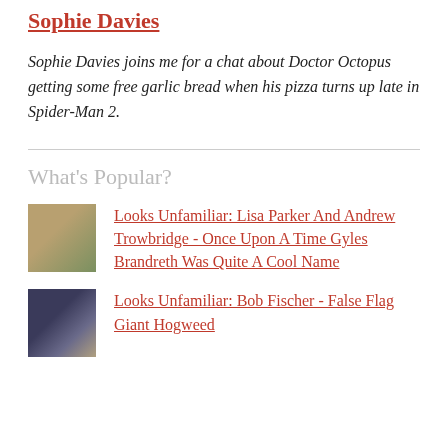Sophie Davies
Sophie Davies joins me for a chat about Doctor Octopus getting some free garlic bread when his pizza turns up late in Spider-Man 2.
What's Popular?
Looks Unfamiliar: Lisa Parker And Andrew Trowbridge - Once Upon A Time Gyles Brandreth Was Quite A Cool Name
Looks Unfamiliar: Bob Fischer - False Flag Giant Hogweed